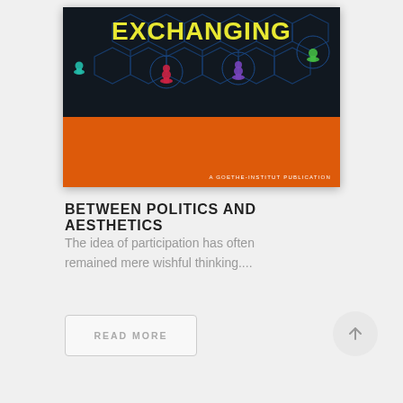[Figure (illustration): Book cover showing 'EXCHANGING' in yellow text on a dark background with hexagonal network pattern and colored game piece figures (red, purple, green). Lower portion is orange with 'A GOETHE-INSTITUT PUBLICATION' text in white at bottom right.]
BETWEEN POLITICS AND AESTHETICS
The idea of participation has often remained mere wishful thinking....
READ MORE